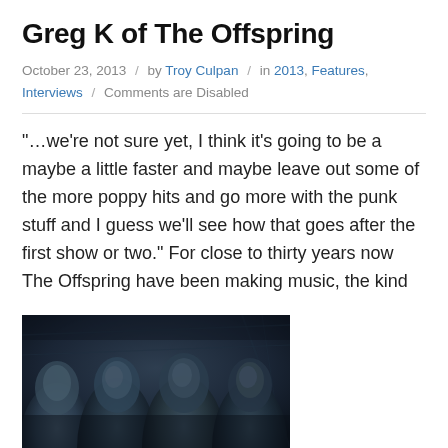Greg K of The Offspring
October 23, 2013 / by Troy Culpan / in 2013, Features, Interviews / Comments are Disabled
"…we're not sure yet, I think it's going to be a maybe a little faster and maybe leave out some of the more poppy hits and go more with the punk stuff and I guess we'll see how that goes after the first show or two." For close to thirty years now The Offspring have been making music, the kind […]
Read more ›
[Figure (photo): Dark moody photo of band members (The Offspring) with faces visible in low light against a dark background]